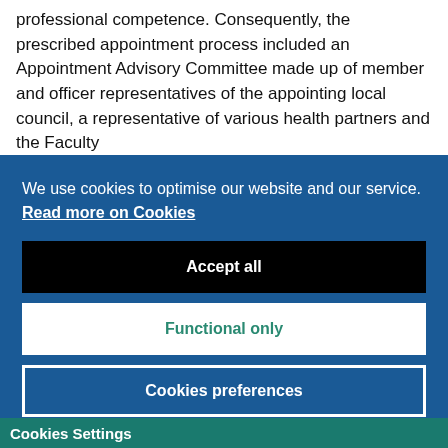professional competence. Consequently, the prescribed appointment process included an Appointment Advisory Committee made up of member and officer representatives of the appointing local council, a representative of various health partners and the Faculty
We use cookies to optimise our website and our service.  Read more on Cookies
Accept all
Functional only
Cookies preferences
Cookies Settings